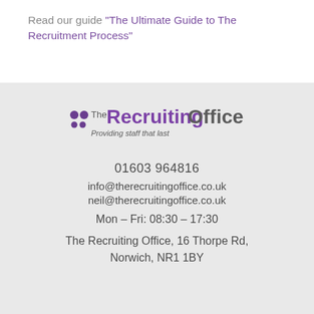Read our guide “The Ultimate Guide to The Recruitment Process”
[Figure (logo): The Recruiting Office logo with tagline 'Providing staff that last']
01603 964816
info@therecruitingoffice.co.uk
neil@therecruitingoffice.co.uk
Mon – Fri: 08:30 – 17:30
The Recruiting Office, 16 Thorpe Rd, Norwich, NR1 1BY